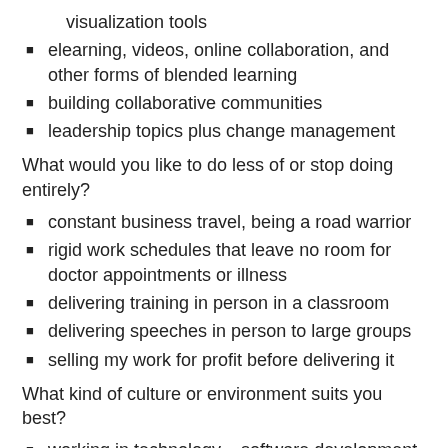visualization tools
elearning, videos, online collaboration, and other forms of blended learning
building collaborative communities
leadership topics plus change management
What would you like to do less of or stop doing entirely?
constant business travel, being a road warrior
rigid work schedules that leave no room for doctor appointments or illness
delivering training in person in a classroom
delivering speeches in person to large groups
selling my work for profit before delivering it
What kind of culture or environment suits you best?
working in technology – software development